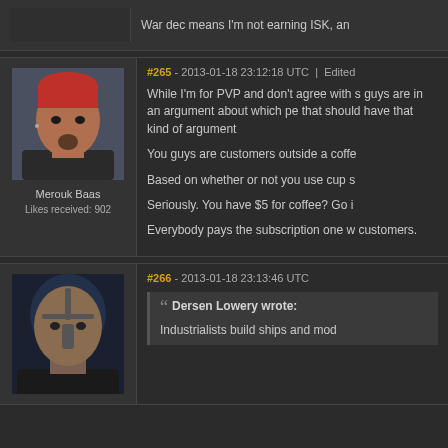War dec means I'm not earning ISK, an
#265 - 2013-01-18 23:12:18 UTC | Edited
[Figure (illustration): Avatar portrait of Merouk Baas — male character with red hair and goatee]
Merouk Baas
Likes received: 902
While I'm for PVP and don't agree with s guys are in an argument about which pe that should have that kind of argument
You guys are customers outside a coffe
Based on whether or not you use cup s
Seriously. You have $5 for coffee? Go i
Everybody pays the subscription one w customers.
#266 - 2013-01-18 23:13:46 UTC
[Figure (illustration): Avatar portrait of a character with dark skin and face markings/tattoos]
Dersen Lowery wrote:
Industrialists build ships and mod